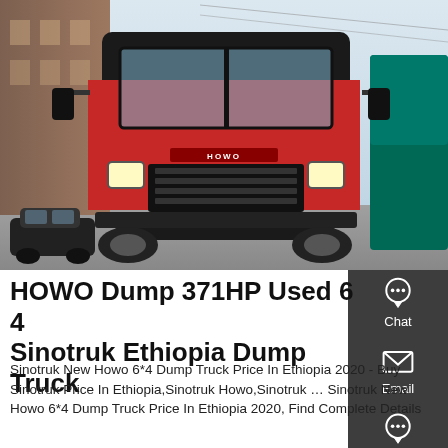[Figure (photo): Front view of a red HOWO dump truck parked in a lot, with a building on the left, a teal truck on the right, and cars in the background]
HOWO Dump 371HP Used 6 4 Sinotruk Ethiopia Dump Truck
Sinotruk New Howo 6*4 Dump Truck Price In Ethiopia 2020 - Buy Sinotruk Price In Ethiopia,Sinotruk Howo,Sinotruk … Sinotruk New Howo 6*4 Dump Truck Price In Ethiopia 2020, Find Complete Details